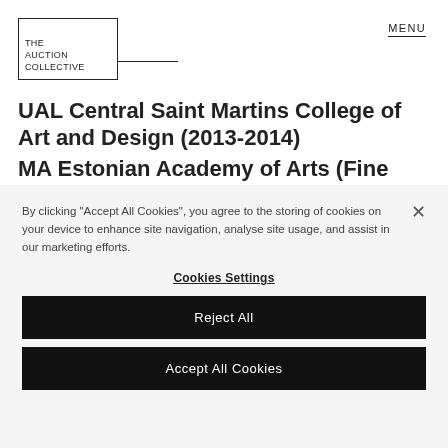THE AUCTION COLLECTIVE | MENU
UAL Central Saint Martins College of Art and Design (2013-2014)
MA Estonian Academy of Arts (Fine Arts- painting)
By clicking "Accept All Cookies", you agree to the storing of cookies on your device to enhance site navigation, analyse site usage, and assist in our marketing efforts.
Cookies Settings
Reject All
Accept All Cookies